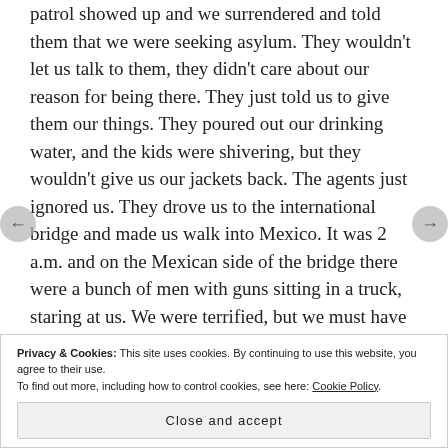patrol showed up and we surrendered and told them that we were seeking asylum. They wouldn't let us talk to them, they didn't care about our reason for being there. They just told us to give them our things. They poured out our drinking water, and the kids were shivering, but they wouldn't give us our jackets back. The agents just ignored us. They drove us to the international bridge and made us walk into Mexico. It was 2 a.m. and on the Mexican side of the bridge there were a bunch of men with guns sitting in a truck, staring at us. We were terrified, but we must have looked so pathetic that
Privacy & Cookies: This site uses cookies. By continuing to use this website, you agree to their use.
To find out more, including how to control cookies, see here: Cookie Policy
Close and accept